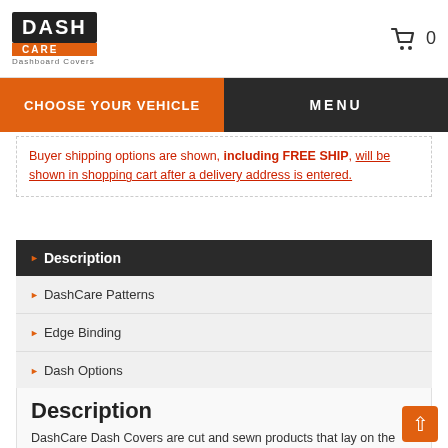DASH CARE Dashboard Covers | Cart: 0
CHOOSE YOUR VEHICLE | MENU
Buyer shipping options are shown, including FREE SHIP, will be shown in shopping cart after a delivery address is entered.
Description
DashCare Patterns
Edge Binding
Dash Options
Speakers
Shipping
Description
DashCare Dash Covers are cut and sewn products that lay on the dashboard. They protect against UV rays from the Sun, help reduce glare and reduce heat build-up of the dash.